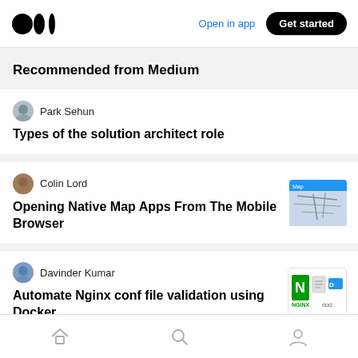Medium logo | Open in app | Get started
Recommended from Medium
Park Sehun
Types of the solution architect role
Colin Lord
Opening Native Map Apps From The Mobile Browser
[Figure (photo): Thumbnail image of a map]
Davinder Kumar
Automate Nginx conf file validation using Docker
[Figure (logo): Nginx and Docker logos thumbnail]
Home | Search | Profile navigation icons